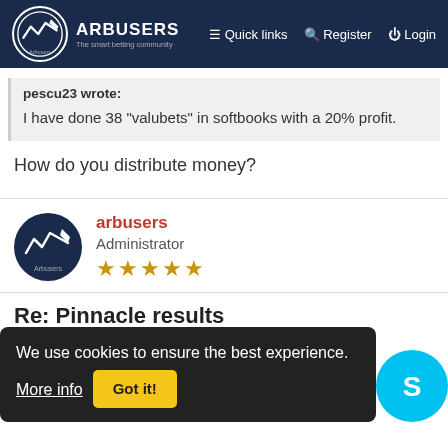ARBUSERS — Quick links — Register — Login
pescu23 wrote:
I have done 38 "valubets" in softbooks with a 20% profit.
How do you distribute money?
arbusers
Administrator
★★★★★
Re: Pinnacle results
Wed Aug 14, 2013 1:48 pm
We use cookies to ensure the best experience. More info
Got it!